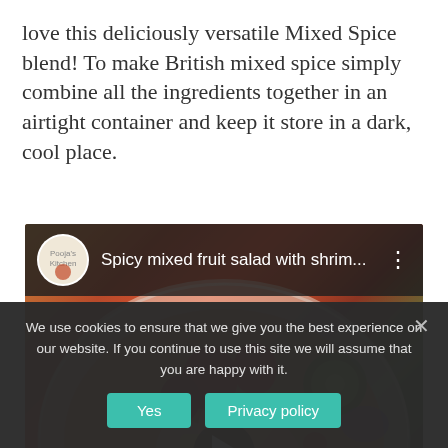love this deliciously versatile Mixed Spice blend! To make British mixed spice simply combine all the ingredients together in an airtight container and keep it store in a dark, cool place.
[Figure (screenshot): YouTube-style embedded video thumbnail showing a spicy mixed fruit salad with shrimp dish — colorful plate with strawberries, shrimp, kiwi, blackberries, and other fruits on a white plate. Video header bar shows channel icon, title 'Spicy mixed fruit salad with shrim...' and three-dot menu. A play button is visible in the center.]
We use cookies to ensure that we give you the best experience on our website. If you continue to use this site we will assume that you are happy with it.